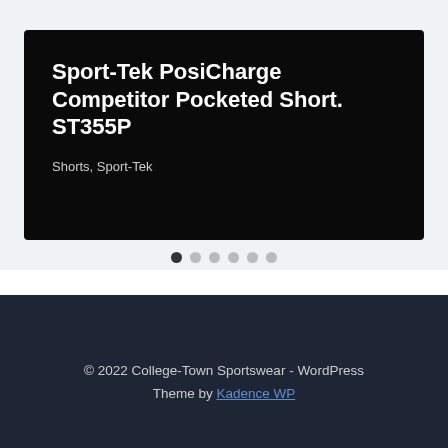Sport-Tek PosiCharge Competitor Pocketed Short. ST355P
Shorts, Sport-Tek
© 2022 College-Town Sportswear - WordPress Theme by Kadence WP